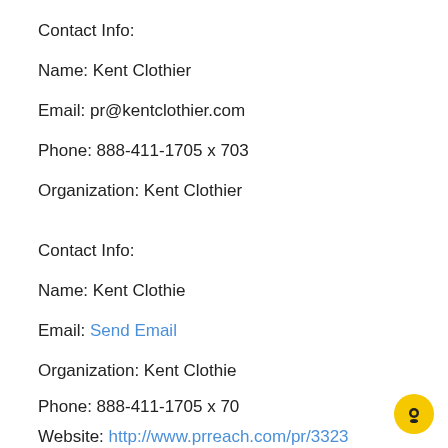Contact Info:
Name: Kent Clothier
Email: pr@kentclothier.com
Phone: 888-411-1705 x 703
Organization: Kent Clothier
Contact Info:
Name: Kent Clothie
Email: Send Email
Organization: Kent Clothie
Phone: 888-411-1705 x 70
Website: http://www.prreach.com/pr/3323